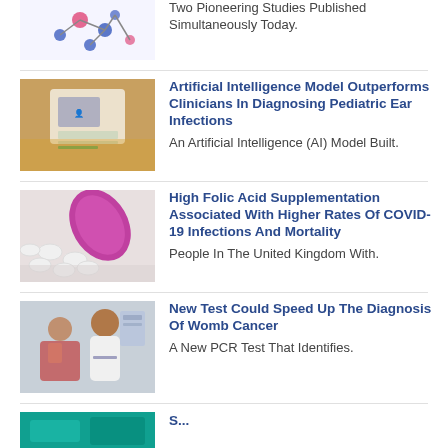[Figure (photo): Partial view - molecule/science illustration at top left]
Two Pioneering Studies Published Simultaneously Today.
[Figure (photo): Person holding a medical device or card with label]
Artificial Intelligence Model Outperforms Clinicians In Diagnosing Pediatric Ear Infections
An Artificial Intelligence (AI) Model Built.
[Figure (photo): Pink/magenta pill bottle tipped over with white pills spilling out]
High Folic Acid Supplementation Associated With Higher Rates Of COVID-19 Infections And Mortality
People In The United Kingdom With.
[Figure (photo): Doctor in white coat speaking with a patient]
New Test Could Speed Up The Diagnosis Of Womb Cancer
A New PCR Test That Identifies.
[Figure (photo): Partial image at bottom - teal/green colored]